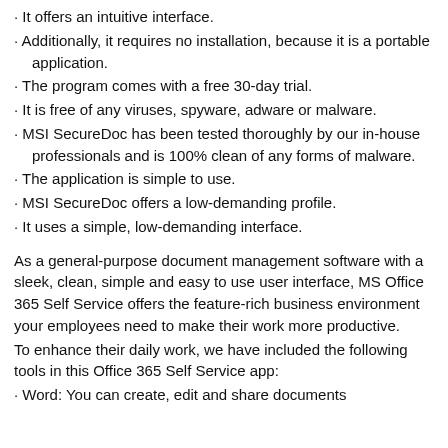It offers an intuitive interface.
Additionally, it requires no installation, because it is a portable application.
The program comes with a free 30-day trial.
It is free of any viruses, spyware, adware or malware.
MSI SecureDoc has been tested thoroughly by our in-house professionals and is 100% clean of any forms of malware.
The application is simple to use.
MSI SecureDoc offers a low-demanding profile.
It uses a simple, low-demanding interface.
As a general-purpose document management software with a sleek, clean, simple and easy to use user interface, MS Office 365 Self Service offers the feature-rich business environment your employees need to make their work more productive.
To enhance their daily work, we have included the following tools in this Office 365 Self Service app:
Word: You can create, edit and share documents